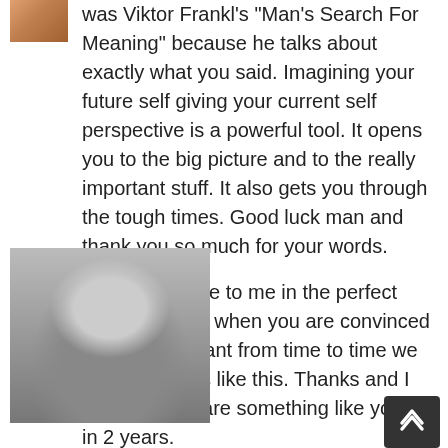was Viktor Frankl's "Man's Search For Meaning" because he talks about exactly what you said. Imagining your future self giving your current self perspective is a powerful tool. It opens you to the big picture and to the really important stuff. It also gets you through the tough times. Good luck man and thank you so much for your words.
Reply
Luis
Your post came to me in the perfect moment, even when you are convinced of what you want from time to time we all need words like this. Thanks and I hope I can share something like you did in 2 years.